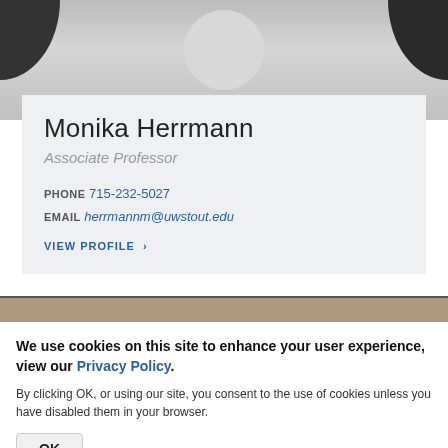[Figure (photo): Grayscale partial photo of a person's face cropped at top of page]
Monika Herrmann
Associate Professor
PHONE 715-232-5027
EMAIL herrmannm@uwstout.edu
VIEW PROFILE ›
[Figure (photo): Partial grayscale photo of another person visible below the divider line]
We use cookies on this site to enhance your user experience, view our Privacy Policy.
By clicking OK, or using our site, you consent to the use of cookies unless you have disabled them in your browser.
OK